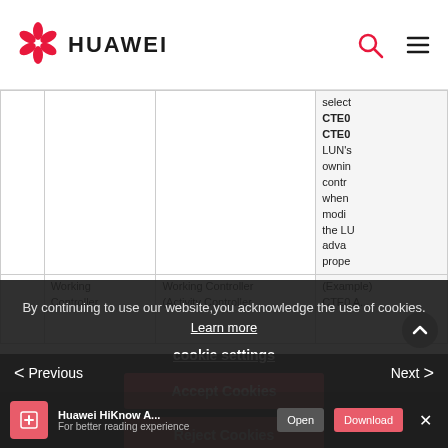HUAWEI
|  | Working Controller | Working Controller (Activity Controller) | (Example) CTE0 A... |
| --- | --- | --- | --- |
|  |  |  | select
CTE0
CTE0
LUN's
owning
contro
when
modif
the LU
adva
prope |
By continuing to use our website, you acknowledge the use of cookies. Learn more
cookie settings
Accept Cookies
Reject Cookies
< Previous
Next >
Huawei HiKnow A...
For better reading experience
Open  Download